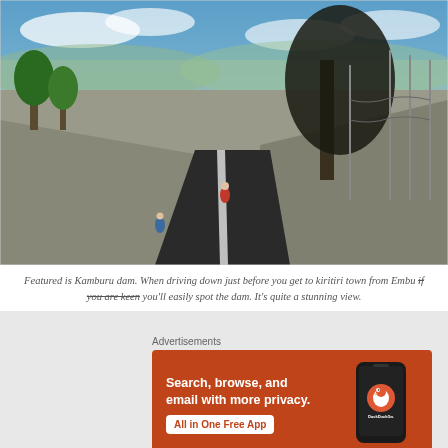[Figure (photo): Road scene near Kamburu dam, showing cyclists on a black asphalt road with grey volcanic embankments on either side, green trees, power lines, blue sky with clouds in the background and distant landscape.]
Featured is Kamburu dam. When driving down just before you get to kiritiri town from Embu if you are keen you'll easily spot the dam. It's quite a stunning view.
Advertisements
[Figure (screenshot): DuckDuckGo advertisement banner with orange background. Left side text: 'Search, browse, and email with more privacy. All in One Free App'. Right side shows a smartphone displaying the DuckDuckGo app.]